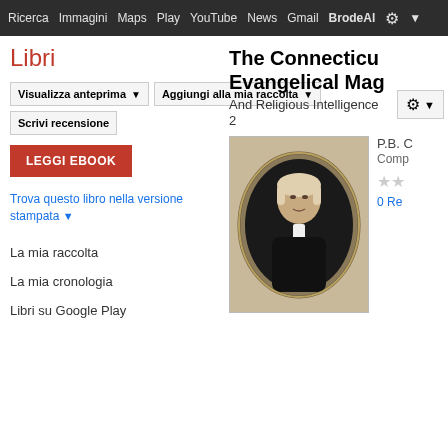Ricerca  Immagini  Maps  Play  YouTube  News  Gmail  BrodeAl ⚙ ▼
Libri
Visualizza anteprima ▼
Aggiungi alla mia raccolta ▼
Scrivi recensione
LEGGI EBOOK
Trova questo libro nella versione stampata ▼
La mia raccolta
La mia cronologia
Libri su Google Play
The Connecticu Evangelical Mag
And Religious Intelligence
2
P.B. C
Comp
★★
0 Re
[Figure (illustration): Portrait engraving of a clergyman in oval frame, black and white]